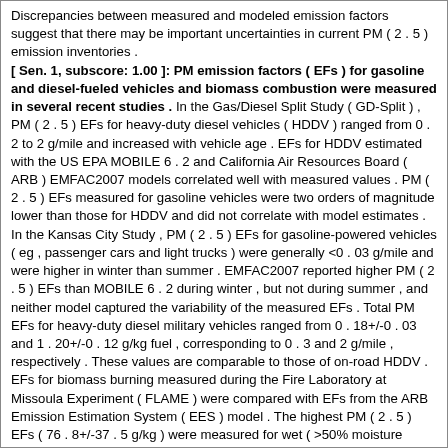Discrepancies between measured and modeled emission factors suggest that there may be important uncertainties in current PM ( 2 . 5 ) emission inventories . [ Sen. 1, subscore: 1.00 ]: PM emission factors ( EFs ) for gasoline and diesel-fueled vehicles and biomass combustion were measured in several recent studies . In the Gas/Diesel Split Study ( GD-Split ) , PM ( 2 . 5 ) EFs for heavy-duty diesel vehicles ( HDDV ) ranged from 0 . 2 to 2 g/mile and increased with vehicle age . EFs for HDDV estimated with the US EPA MOBILE 6 . 2 and California Air Resources Board ( ARB ) EMFAC2007 models correlated well with measured values . PM ( 2 . 5 ) EFs measured for gasoline vehicles were two orders of magnitude lower than those for HDDV and did not correlate with model estimates . In the Kansas City Study , PM ( 2 . 5 ) EFs for gasoline-powered vehicles ( eg , passenger cars and light trucks ) were generally <0 . 03 g/mile and were higher in winter than summer . EMFAC2007 reported higher PM ( 2 . 5 ) EFs than MOBILE 6 . 2 during winter , but not during summer , and neither model captured the variability of the measured EFs . Total PM EFs for heavy-duty diesel military vehicles ranged from 0 . 18+/-0 . 03 and 1 . 20+/-0 . 12 g/kg fuel , corresponding to 0 . 3 and 2 g/mile , respectively . These values are comparable to those of on-road HDDV . EFs for biomass burning measured during the Fire Laboratory at Missoula Experiment ( FLAME ) were compared with EFs from the ARB Emission Estimation System ( EES ) model . The highest PM ( 2 . 5 ) EFs ( 76 . 8+/-37 . 5 g/kg ) were measured for wet ( >50% moisture content ) Ponderosa Pine needles . [ Sen. 2, subscore: 1.00 ]: PM emission factors ( EFs ) for gasoline and diesel-fueled vehicles and biomass combustion were measured in several recent studies . In the Gas/Diesel Split Study ( GD-Split ) , PM ( 2 . 5 ) EFs for heavy-duty diesel vehicles ( HDDV ) ranged from 0 . 2 to 2 g/mile and increased with vehicle age . EFs for HDDV